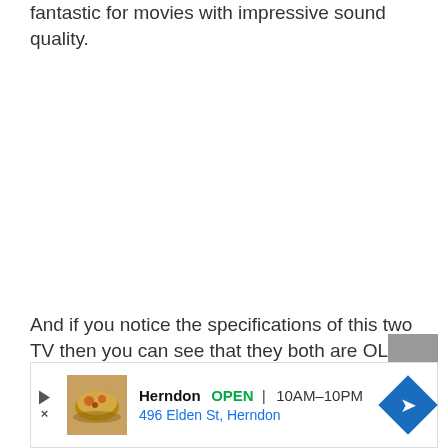fantastic for movies with impressive sound quality.
And if you notice the specifications of this two TV then you can see that they both are OLED TV, both support 4k content, they have
[Figure (other): Advertisement banner for Herndon restaurant showing food image, business name, open status, hours 10AM-10PM, address 496 Elden St Herndon, and navigation arrow icon]